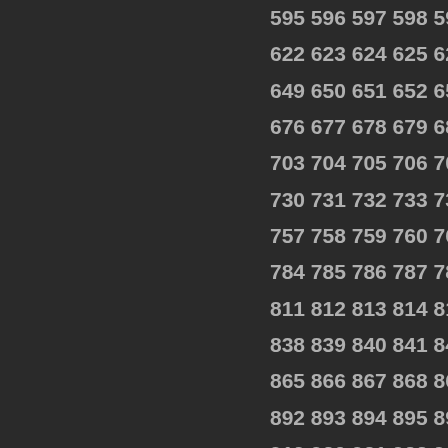595 596 597 598 599 600 601 602 60... 622 623 624 625 626 627 628 629 63... (sequence of numbers from 595 to 1155+)